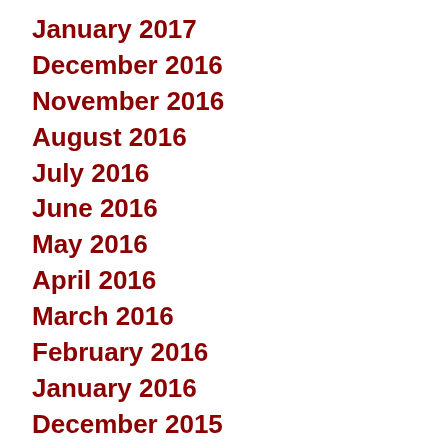January 2017
December 2016
November 2016
August 2016
July 2016
June 2016
May 2016
April 2016
March 2016
February 2016
January 2016
December 2015
November 2015
October 2015
September 2015
August 2015
July 2015
June 2015